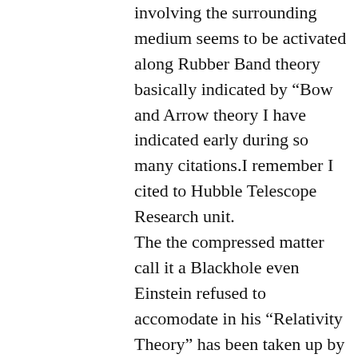involving the surrounding medium seems to be activated along Rubber Band theory basically indicated by “Bow and Arrow theory I have indicated early during so many citations.I remember I cited to Hubble Telescope Research unit. The the compressed matter call it a Blackhole even Einstein refused to accomodate in his “Relativity Theory” has been taken up by Hon.Roger Penrose for his mathematical evalution.He has seeded the basic theory followed by his Scientists can not be be neglected so easily. But there was some information available while decoding “Bow and Arrow” dynamics as energy is stored and released as comparable with Blue atars ejeted at high speeds breaking the theory of